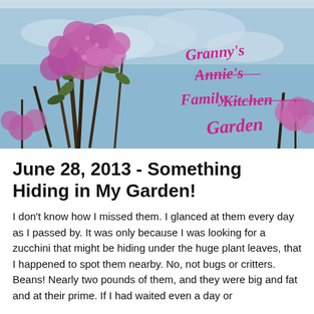[Figure (photo): Blog banner header photo showing pink lilac flowers in bloom against a blue sky. Text overlay in cursive/handwritten style reads: Granny's Annie's Family Kitchen Garden]
June 28, 2013 - Something Hiding in My Garden!
I don't know how I missed them.  I glanced at them every day as I passed by.  It was only because I was looking for a zucchini that might be hiding under the huge plant leaves, that I happened to spot them nearby.  No, not bugs or critters.  Beans!  Nearly two pounds of them, and they were big and fat and at their prime.  If I had waited even a day or